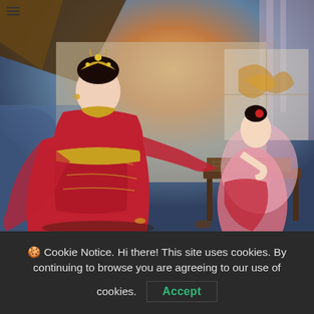[Figure (illustration): A Chinese classical painting-style illustration showing two women in traditional Han dynasty attire. The main figure on the left wears an elaborate red and gold embroidered dress with a golden sash, and an ornate golden headdress. A second woman in pink and red sits at a low table on the right. The background shows dramatic sky, a decorative window, and sheer curtains.]
🍪 Cookie Notice. Hi there! This site uses cookies. By continuing to browse you are agreeing to our use of cookies.